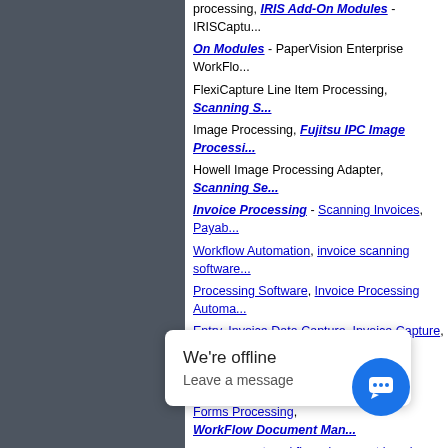[Figure (screenshot): Left dark grey panel/sidebar element]
processing, IRIS Add-On Modules - IRISCapt... On Modules - PaperVision Enterprise WorkFlo... FlexiCapture Line Item Processing, Scanning S... Image Processing, Fujitsu IPC Image Processi... Howell Image Processing Adapter, Scanning Se... Invoice Processing - Scanning Invoices, Payab... Workflow Automation, invoice scanning software... Processing Software, Invoice Processing Automa... Entry, Invoice Data Capture, Invoice Capture, Au... Forms Processing Software - Survey Process... Forms Processing, WorkFlow Document Man... management workflow, document imaging workf...
Meta Enterprises, LLC - Knoxville, TN
Invoice Processing Workflow at ScanStore.com
Freeware OCR Software and Royalty Free OCR
Document Scanning, OCR and Barcode Recogn...
Mortgage Document Scanning and OCR
Find Pipettors and Pipette Tips
Click
ABOUT US    NEWS & SPECIALS
Document Imaging, Document Management Software, OCR Software, Scanning... R So... ouT... ht 2... t E...
[Figure (screenshot): We're offline chat popup with Leave a message text and blue chat icon]